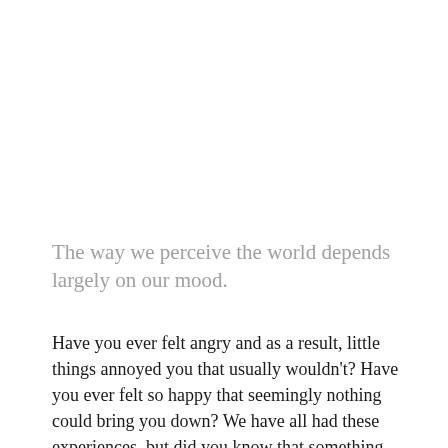The way we perceive the world depends largely on our mood.
Have you ever felt angry and as a result, little things annoyed you that usually wouldn't? Have you ever felt so happy that seemingly nothing could bring you down? We have all had these experiences, but did you know that something similar happens in the way that we perceive color? Our mood can even make the colors we see appear different than their actual hue.